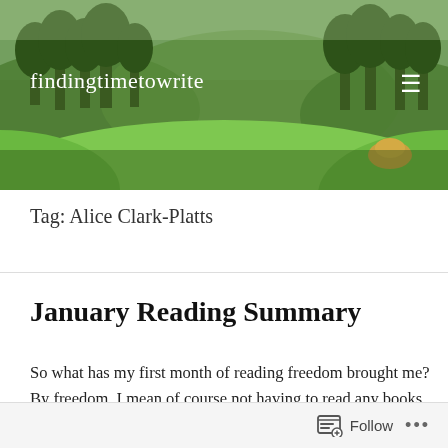[Figure (photo): Header image of a green hillside landscape with trees, used as the blog header background.]
findingtimetowrite
Tag: Alice Clark-Platts
January Reading Summary
So what has my first month of reading freedom brought me? By freedom, I mean of course not having to read any books for review, following my own whims and jumping into rabbit holes. There was only one book that I had already promised to
Follow ...